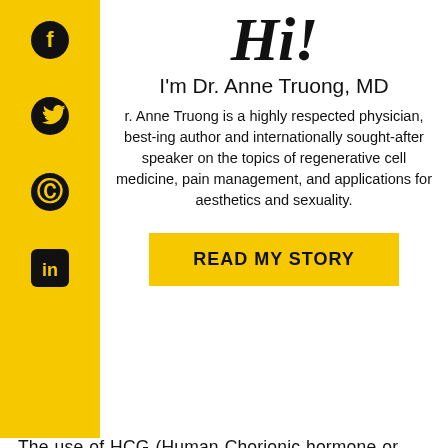[Figure (infographic): Yellow sidebar with social media icons: Facebook, Twitter, Pinterest, LinkedIn]
Hi!
I'm Dr. Anne Truong, MD
Dr. Anne Truong is a highly respected physician, best-selling author and internationally sought-after speaker on the topics of regenerative cell medicine, pain management, and applications for aesthetics and sexuality.
READ MY STORY
The use of HCG (Human Chorionic hormone or human chorionic gonadotropin) for weight loss is not a new concept. Also known as the HCG diet, those seeking to achieve safe weight loss have religiously sought a miracle cure to achieve rapid,